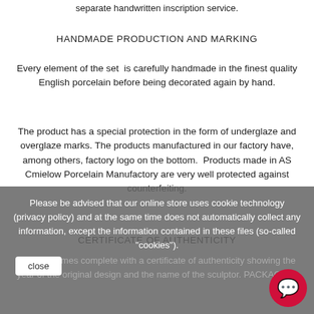separate handwritten inscription service.
HANDMADE PRODUCTION AND MARKING
Every element of the set  is carefully handmade in the finest quality English porcelain before being decorated again by hand.
The product has a special protection in the form of underglaze and overglaze marks. The products manufactured in our factory have, among others, factory logo on the bottom.  Products made in AS Cmielow Porcelain Manufactory are very well protected against counterfeiting.
CERTIFICATE OF AUTHENTICITY
The set comes complete with a certificate of authenticity showing the year of the original design and the name of the sculptor. PACKAGING
Please be advised that our online store uses cookie technology (privacy policy) and at the same time does not automatically collect any information, except the information contained in these files (so-called "cookies").